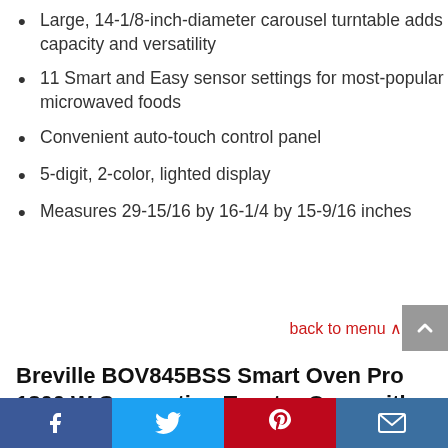Large, 14-1/8-inch-diameter carousel turntable adds capacity and versatility
11 Smart and Easy sensor settings for most-popular microwaved foods
Convenient auto-touch control panel
5-digit, 2-color, lighted display
Measures 29-15/16 by 16-1/4 by 15-9/16 inches
back to menu
Breville BOV845BSS Smart Oven Pro 1800 W Convection Toaster Oven with Element IQ, Brushed Stainless Steel